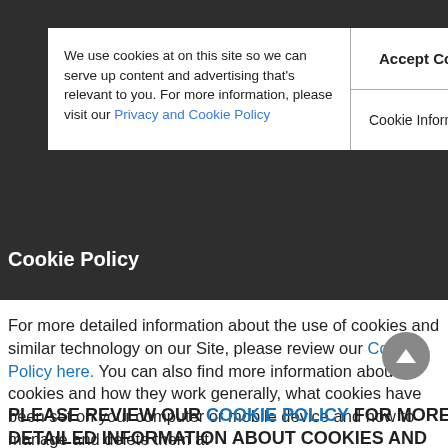Evolve Media LLC adheres to the Digital Advertising Alliance of Canada's Self-Regulatory Principles for Interest-Based Advertising. To learn more, please click here.
We use cookies at on this site so we can serve up content and advertising that's relevant to you. For more information, please visit our Privacy and Cookie Policy
Accept Cookies
Cookie Information
Cookie Policy
For more detailed information about the use of cookies and similar technology on our Site, please review our Cookie Policy here. You can also find more information about cookies and how they work generally, what cookies have been set on your computer or mobile device and how to manage and delete them at http://www.aboutads.info/choices if you are located in the United States, www.youronlinechoices.com if you are located in Europe, www.youradchoices.ca/choices if you are located in Canada, or www.youronlinechoices.com.au if you are located in Australia
PLEASE REVIEW OUR COOKIE POLICY FOR MORE DETAILED INFORMATION ABOUT COOKIES AND HOW TO